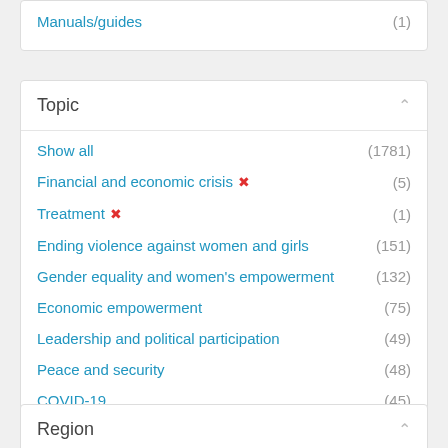Manuals/guides (1)
Topic
Show all (1781)
Financial and economic crisis ✗ (5)
Treatment ✗ (1)
Ending violence against women and girls (151)
Gender equality and women's empowerment (132)
Economic empowerment (75)
Leadership and political participation (49)
Peace and security (48)
COVID-19 (45)
Gender equality and inequality (40)
Show more
Region